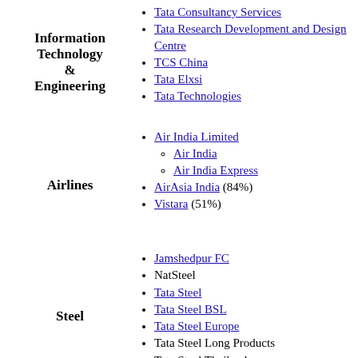Information Technology & Engineering
Tata Consultancy Services
Tata Research Development and Design Centre
TCS China
Tata Elxsi
Tata Technologies
Airlines
Air India Limited
Air India (sub-item)
Air India Express (sub-item)
AirAsia India (84%)
Vistara (51%)
Steel
Jamshedpur FC
NatSteel
Tata Steel
Tata Steel BSL
Tata Steel Europe
Tata Steel Long Products
Tata Steel Thailand
Tayo Rolls
Tata Motors
Tata Motors Cars
Jaguar Land Rover